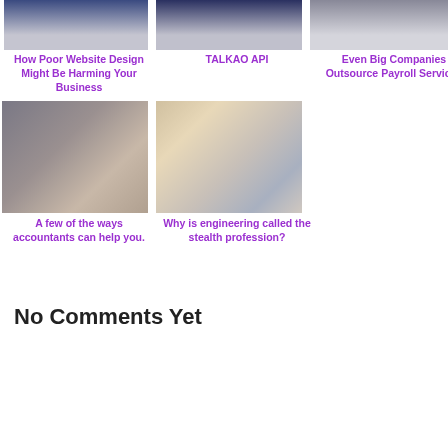[Figure (photo): Top banner image - website design related]
How Poor Website Design Might Be Harming Your Business
[Figure (photo): Top banner image - TALKAO API]
TALKAO API
[Figure (photo): Top banner image - payroll services]
Even Big Companies Outsource Payroll Services
[Figure (photo): Person working at computer desk with monitors]
A few of the ways accountants can help you.
[Figure (photo): Engineer/construction worker with city skyline double exposure]
Why is engineering called the stealth profession?
No Comments Yet